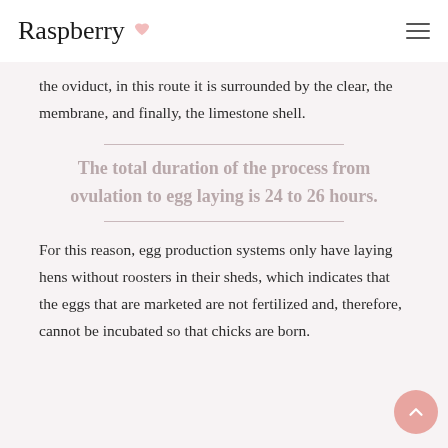Raspberry
the oviduct, in this route it is surrounded by the clear, the membrane, and finally, the limestone shell.
The total duration of the process from ovulation to egg laying is 24 to 26 hours.
For this reason, egg production systems only have laying hens without roosters in their sheds, which indicates that the eggs that are marketed are not fertilized and, therefore, cannot be incubated so that chicks are born.